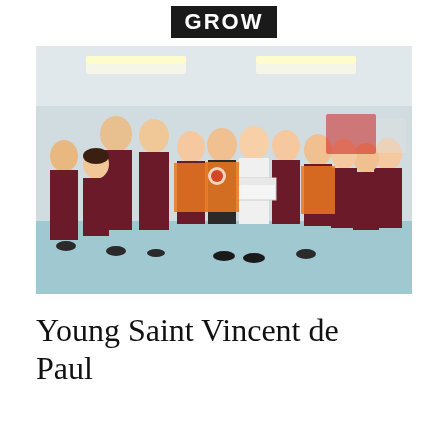GROW
[Figure (photo): Group of teenagers in dark maroon school uniforms and orange high-visibility vests standing together indoors in a school hall. Two students in the center wear white tops; one holds a cheque/card with a red circular logo. Fluorescent ceiling lights visible in background.]
Young Saint Vincent de Paul